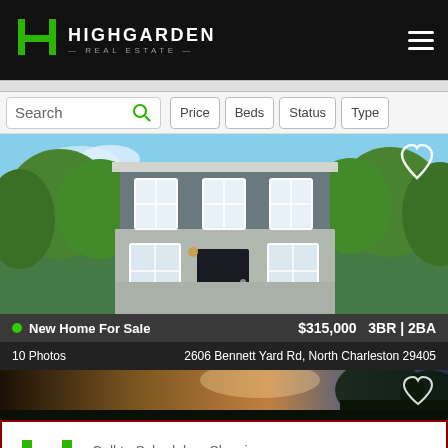HIGHGARDEN REAL ESTATE
Search | Price | Beds | Status | Type
[Figure (photo): Two-story gray house with white trim and black door, New Home For Sale, $315,000 3BR | 2BA]
New Home For Sale  $315,000  3BR | 2BA
10 Photos    2606 Bennett Yard Rd, North Charleston 29405
[Figure (photo): Partial view of second property listing with sunset sky]
Call to Schedule a Showing
(843) 306-2224